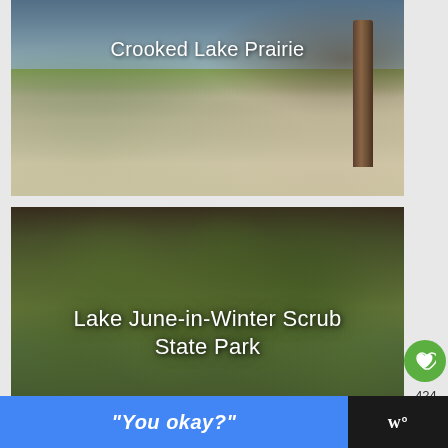[Figure (photo): Outdoor scene of Crooked Lake Prairie showing sandy ground with sparse grasses, shrubs on left, a wooden fence post on right, and trees in background under partly cloudy sky. White text overlay reads 'Crooked Lake Prairie'.]
[Figure (photo): Close-up photo of dense green clumping moss or plant material (scrub vegetation) at Lake June-in-Winter Scrub State Park, with reddish stems visible. White text overlay reads 'Lake June-in-Winter Scrub State Park'. Social interaction buttons (heart with 424 count, share) visible on right edge.]
“You okay?”
[Figure (logo): White 'w' logo with superscript dot on black background, representing a media/app watermark.]